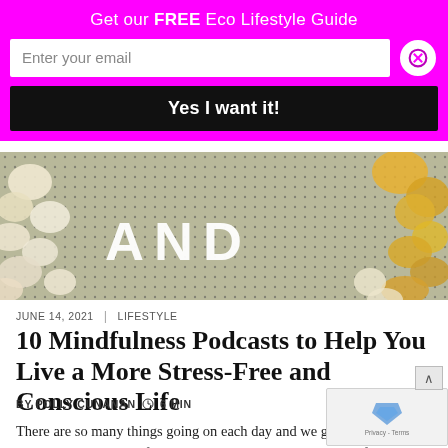Get our FREE Eco Lifestyle Guide
Enter your email
Yes I want it!
[Figure (photo): Decorative background with white and yellow flowers on a dot-grid board with letters 'AND' visible]
JUNE 14, 2021  |  LIFESTYLE
10 Mindfulness Podcasts to Help You Live a More Stress-Free and Conscious Life
BY POLLY CUNANAN  🕐  6 MIN
There are so many things going on each day and we get so caught up with everything that life throws our way that it is hard mindfully and feel at peace. Concerns about our relations careers, responsibilities, current news affairs and the future are